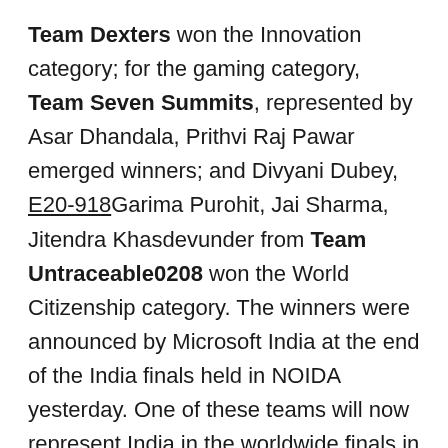Team Dexters won the Innovation category; for the gaming category, Team Seven Summits, represented by Asar Dhandala, Prithvi Raj Pawar emerged winners; and Divyani Dubey, E20-918Garima Purohit, Jai Sharma, Jitendra Khasdevunder from Team Untraceable0208 won the World Citizenship category. The winners were announced by Microsoft India at the end of the India finals held in NOIDA yesterday. One of these teams will now represent India in the worldwide finals in July in Seattle and compete for a USD 50,000 prize.
Winners
1st Pl...